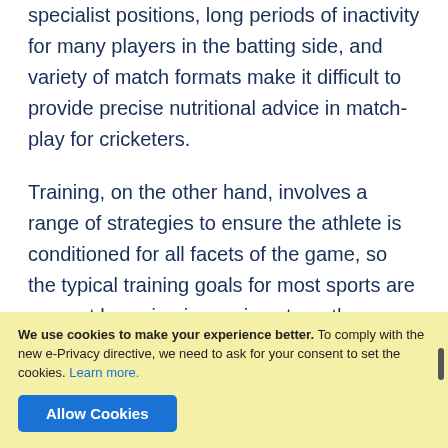specialist positions, long periods of inactivity for many players in the batting side, and variety of match formats make it difficult to provide precise nutritional advice in match-play for cricketers.
Training, on the other hand, involves a range of strategies to ensure the athlete is conditioned for all facets of the game, so the typical training goals for most sports are present here, i.e. improving strength, aerobic fitness, speed,
We use cookies to make your experience better. To comply with the new e-Privacy directive, we need to ask for your consent to set the cookies. Learn more.
Allow Cookies